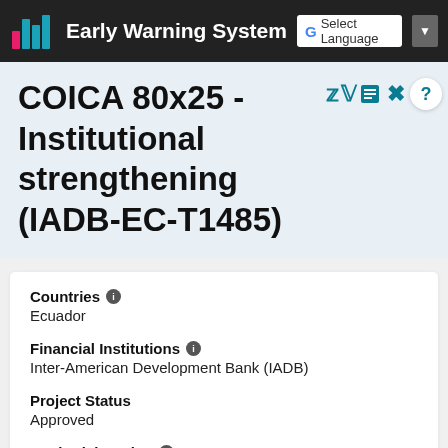Early Warning System
COICA 80x25 - Institutional strengthening (IADB-EC-T1485)
Countries
Ecuador
Financial Institutions
Inter-American Development Bank (IADB)
Project Status
Approved
Bank Risk Rating
U